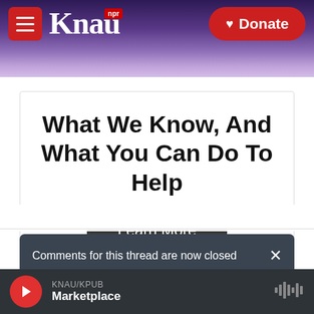KNAU NPR — Donate
What We Know, And What You Can Do To Help
Learn More
Comments for this thread are now closed
Comments   Community   Login
KNAU/KPUB Marketplace